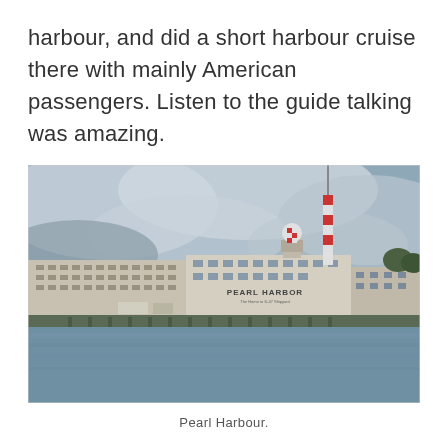harbour, and did a short harbour cruise there with mainly American passengers. Listen to the guide talking was amazing.
[Figure (photo): A waterfront view of Pearl Harbour naval shipyard buildings from the water. Buildings are mostly beige/white, with a red and white striped smokestack and a control tower visible. A sign on one building reads 'PEARL HARBOR'. The sky is overcast with grey clouds, and the foreground shows calm grey water.]
Pearl Harbour.